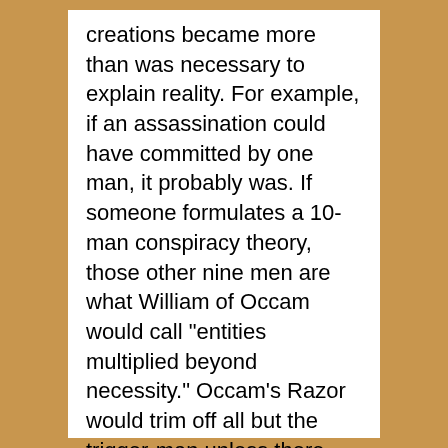creations became more than was necessary to explain reality. For example, if an assassination could have committed by one man, it probably was. If someone formulates a 10-man conspiracy theory, those other nine men are what William of Occam would call "entities multiplied beyond necessity." Occam's Razor would trim off all but the trigger-man unless there was compelling evidence for more.